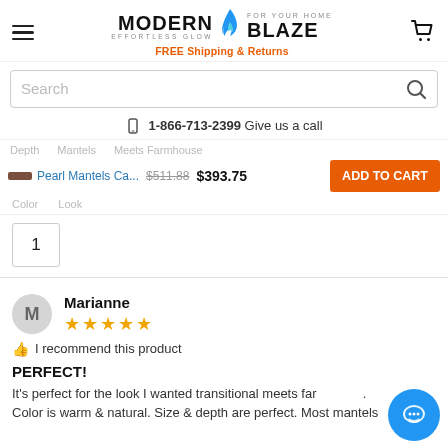Modern Blaze — For Your Home, Effortless Glow — FREE Shipping & Returns
Search
1-866-713-2399 Give us a call
Depth  Mantels  Meets Farmhouse  Color  Look
Pearl Mantels Ca...  $511.88  $393.75  ADD TO CART
1
Marianne
★★★★★
👍 I recommend this product
PERFECT!
It's perfect for the look I wanted transitional meets farmhouse. Color is warm & natural. Size & depth are perfect. Most mantels